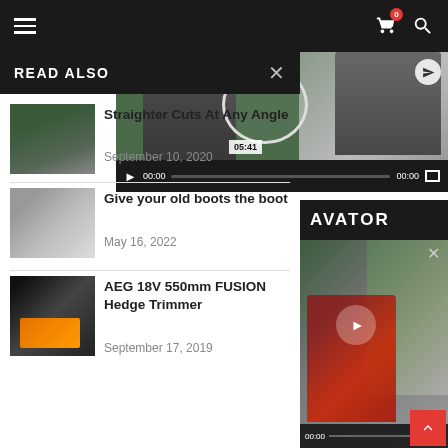Navigation bar with hamburger menu, cart (0), and search icons
[Figure (screenshot): Video player showing two people, one holding a circular object, with timestamp 05:41 and playback controls showing 00:00]
READ ALSO
[Figure (photo): Image of chainsaw cutting hedge/bush]
Straighter Cuts At Any Angle
September 10, 2020
[Figure (photo): Image of old boot/shoe on ground]
Give your old boots the boot
May 16, 2022
[Figure (photo): Image of AEG hedge trimmer]
AEG 18V 550mm FUSION Hedge Trimmer
September 17, 2019
AVATOR
[Figure (screenshot): Video thumbnail showing excavator with red machine, playback controls at bottom showing 00:00, with close X button]